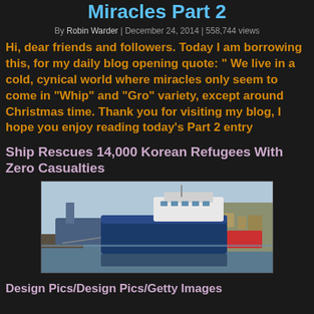Miracles Part 2
By Robin Warder | December 24, 2014 | 558,744 views
Hi, dear friends and followers. Today I am borrowing this, for my daily blog opening quote: " We live in a cold, cynical world where miracles only seem to come in "Whip" and "Gro" variety, except around Christmas time. Thank you for visiting my blog, I hope you enjoy reading today's Part 2 entry
Ship Rescues 14,000 Korean Refugees With Zero Casualties
[Figure (photo): A large blue fishing/cargo vessel docked in a harbor with other boats and buildings visible in the background]
Design Pics/Design Pics/Getty Images